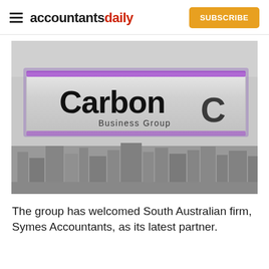accountantsdaily | SUBSCRIBE
[Figure (photo): Carbon Business Group illuminated wall sign with purple LED backlight, mounted on a wall with a black and white cityscape mural below]
The group has welcomed South Australian firm, Symes Accountants, as its latest partner.